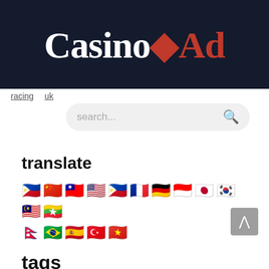[Figure (logo): CasinoAd logo: white 'Casino' text with red diamond, red 'Ad' text on dark navy background]
racing   uk
[Figure (screenshot): Search bar with placeholder text 'search...' and magnifying glass icon]
translate
[Figure (illustration): Row of country flag emoji icons: Philippines, China, Taiwan, USA, Philippines, France, Germany, Indonesia, Japan, South Korea, Malaysia, Myanmar, Nepal, Brazil, Spain, Turkey, Vietnam]
[Figure (illustration): Back to top button: grey square with upward chevron arrow]
tags